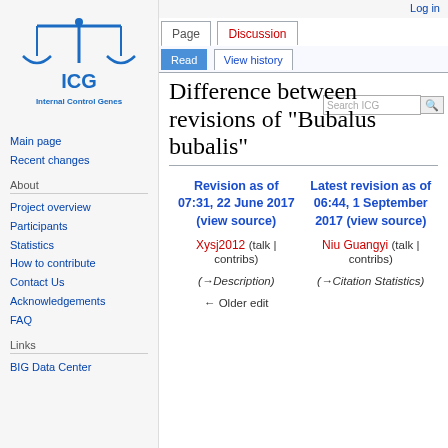[Figure (logo): ICG Internal Control Genes logo — blue balance scales with ICG text and subtitle]
Main page
Recent changes
About
Project overview
Participants
Statistics
How to contribute
Contact Us
Acknowledgements
FAQ
Links
BIG Data Center
Log in
Difference between revisions of "Bubalus bubalis"
| Revision as of 07:31, 22 June 2017 (view source) | Latest revision as of 06:44, 1 September 2017 (view source) |
| --- | --- |
| Xysj2012 (talk | contribs) | Niu Guangyi (talk | contribs) |
| (→Description) | (→Citation Statistics) |
| ← Older edit |  |